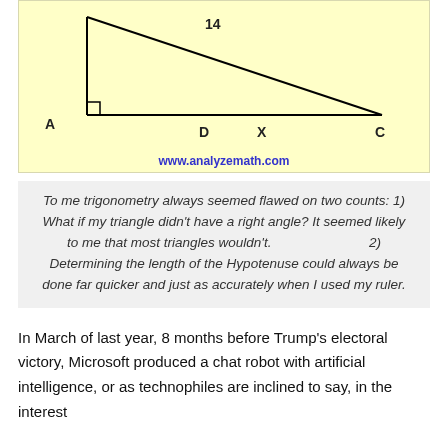[Figure (engineering-diagram): Yellow-background diagram showing a right triangle geometry with vertices labeled A (bottom-left), and a right angle at bottom-left corner, D and X and C along the bottom, with the number 14 labeling a segment near the top. The hypotenuse runs from upper area down to C at bottom-right.]
www.analyzemath.com
To me trigonometry always seemed flawed on two counts: 1) What if my triangle didn't have a right angle? It seemed likely to me that most triangles wouldn't.                                2) Determining the length of the Hypotenuse could always be done far quicker and just as accurately when I used my ruler.
In March of last year, 8 months before Trump's electoral victory, Microsoft produced a chat robot with artificial intelligence, or as technophiles are inclined to say, in the interest